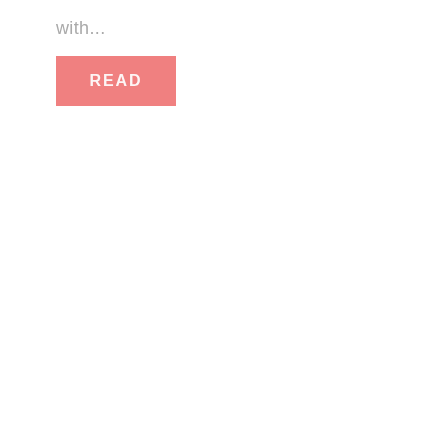with...
[Figure (other): A salmon/coral pink rectangular button with the word READ in white capital letters centered within it]